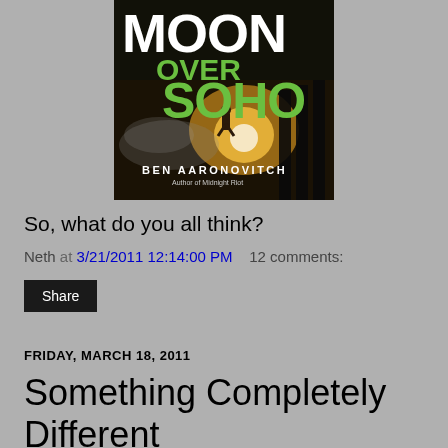[Figure (illustration): Book cover of 'Moon Over Soho' by Ben Aaronovitch. Dark cover with green and white lettering. Shows 'MOON OVER SOHO' title and author name 'BEN AARONOVITCH' with subtitle 'Author of Midnight Riot'.]
So, what do you all think?
Neth at 3/21/2011 12:14:00 PM   12 comments:
Share
FRIDAY, MARCH 18, 2011
Something Completely Different